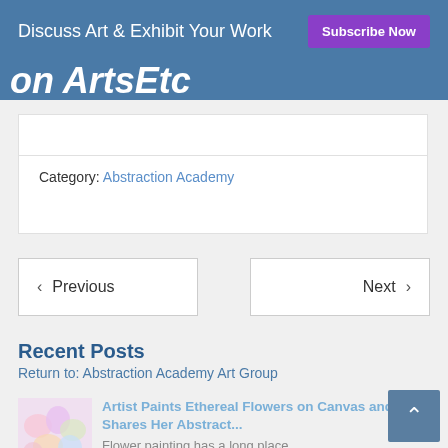Discuss Art & Exhibit Your Work  Subscribe Now
on ArtsEtc
Category: Abstraction Academy
< Previous
Next >
Recent Posts
Return to: Abstraction Academy Art Group
[Figure (photo): Thumbnail of ethereal flower painting on canvas]
Artist Paints Ethereal Flowers on Canvas and Shares Her Abstract...
Flower painting has a long place...
[Figure (photo): Thumbnail of Norman Bluhm artwork]
Norman Bluhm's Second Act